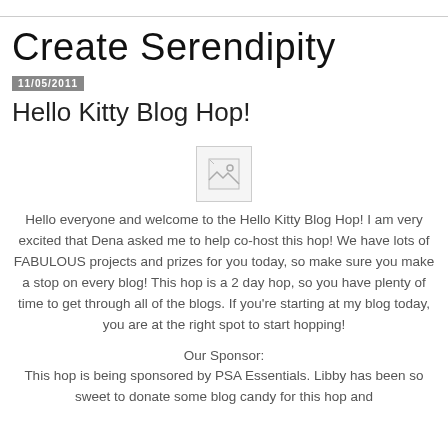Create Serendipity
11/05/2011
Hello Kitty Blog Hop!
[Figure (photo): Broken image placeholder]
Hello everyone and welcome to the Hello Kitty Blog Hop! I am very excited that Dena asked me to help co-host this hop! We have lots of FABULOUS projects and prizes for you today, so make sure you make a stop on every blog! This hop is a 2 day hop, so you have plenty of time to get through all of the blogs. If you're starting at my blog today, you are at the right spot to start hopping!
Our Sponsor:
This hop is being sponsored by PSA Essentials. Libby has been so sweet to donate some blog candy for this hop and